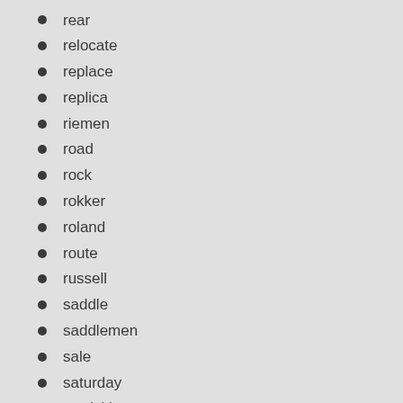rear
relocate
replace
replica
riemen
road
rock
rokker
roland
route
russell
saddle
saddlemen
sale
saturday
sawicki
schoking
schwinn
screamin
seat